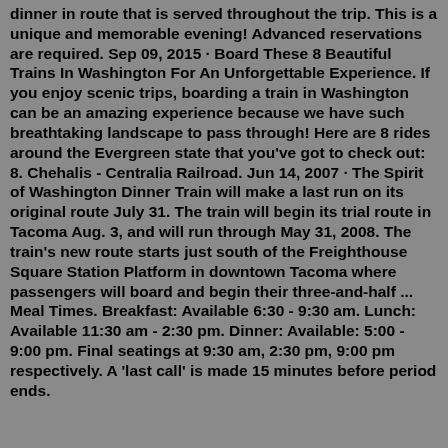dinner in route that is served throughout the trip. This is a unique and memorable evening! Advanced reservations are required. Sep 09, 2015 · Board These 8 Beautiful Trains In Washington For An Unforgettable Experience. If you enjoy scenic trips, boarding a train in Washington can be an amazing experience because we have such breathtaking landscape to pass through! Here are 8 rides around the Evergreen state that you've got to check out: 8. Chehalis - Centralia Railroad. Jun 14, 2007 · The Spirit of Washington Dinner Train will make a last run on its original route July 31. The train will begin its trial route in Tacoma Aug. 3, and will run through May 31, 2008. The train's new route starts just south of the Freighthouse Square Station Platform in downtown Tacoma where passengers will board and begin their three-and-half ... Meal Times. Breakfast: Available 6:30 - 9:30 am. Lunch: Available 11:30 am - 2:30 pm. Dinner: Available: 5:00 - 9:00 pm. Final seatings at 9:30 am, 2:30 pm, 9:00 pm respectively. A 'last call' is made 15 minutes before period ends.